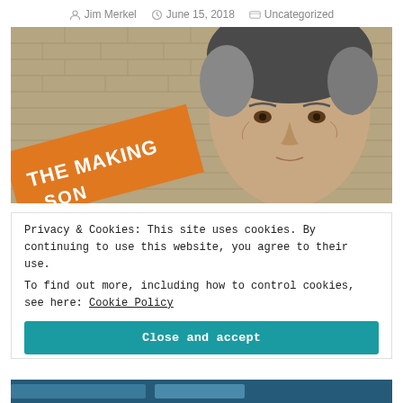Jim Merkel   June 15, 2018   Uncategorized
[Figure (photo): A middle-aged man with grey hair holding an orange book or sign partially visible reading 'THE MAKING' in front of a stone brick wall background.]
Privacy & Cookies: This site uses cookies. By continuing to use this website, you agree to their use.
To find out more, including how to control cookies, see here: Cookie Policy
Close and accept
[Figure (photo): Bottom partial image strip, dark teal/blue color, partially visible.]